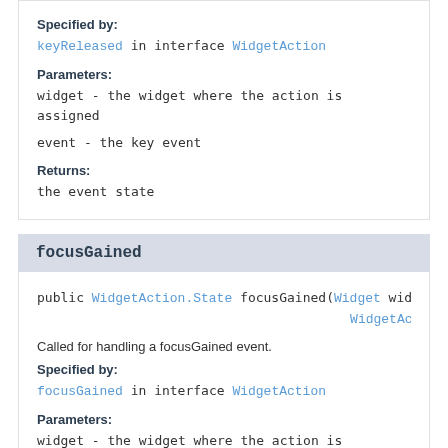Specified by:
keyReleased in interface WidgetAction
Parameters:
widget - the widget where the action is assigned
event - the key event
Returns:
the event state
focusGained
public WidgetAction.State focusGained(Widget widg... WidgetActio...
Called for handling a focusGained event.
Specified by:
focusGained in interface WidgetAction
Parameters:
widget - the widget where the action is